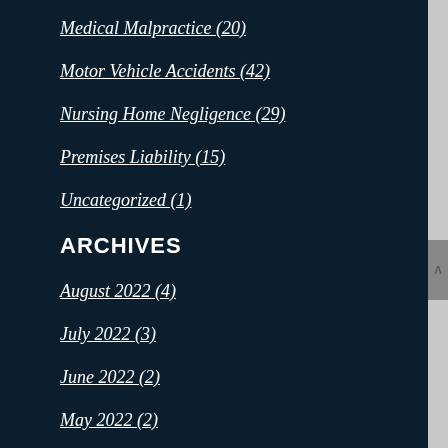Medical Malpractice (20)
Motor Vehicle Accidents (42)
Nursing Home Negligence (29)
Premises Liability (15)
Uncategorized (1)
ARCHIVES
August 2022 (4)
July 2022 (3)
June 2022 (2)
May 2022 (2)
April 2022 (2)
March 2022 (3)